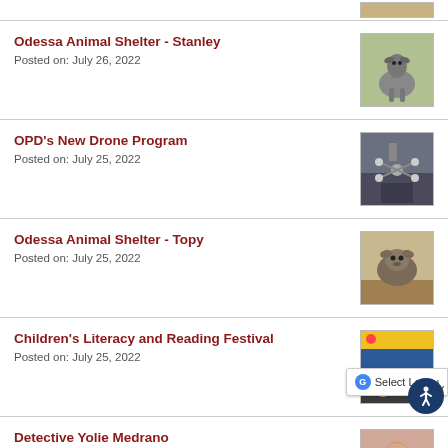Odessa Animal Shelter - Stanley
Posted on: July 26, 2022
[Figure (photo): Photo of a dog (Stanley) running outdoors on grass]
OPD's New Drone Program
Posted on: July 25, 2022
[Figure (photo): Photo showing a drone in an indoor space with a person in background]
Odessa Animal Shelter - Topy
Posted on: July 25, 2022
[Figure (photo): Photo of a dog (Topy) lying on hay]
Children's Literacy and Reading Festival
Posted on: July 25, 2022
[Figure (photo): Photo from Children's Literacy and Reading Festival showing people at a table with yellow banner above]
Detective Yolie Medrano
[Figure (photo): Photo of Detective Yolie Medrano, a woman]